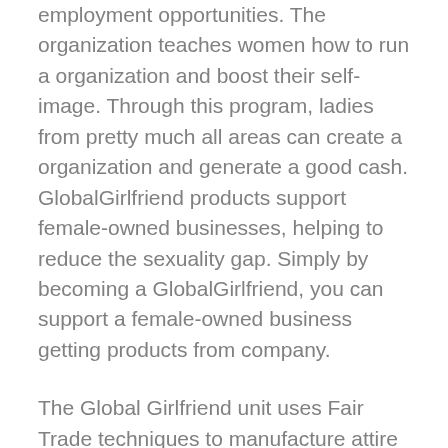employment opportunities. The organization teaches women how to run a organization and boost their self-image. Through this program, ladies from pretty much all areas can create a organization and generate a good cash. GlobalGirlfriend products support female-owned businesses, helping to reduce the sexuality gap. Simply by becoming a GlobalGirlfriend, you can support a female-owned business getting products from company.
The Global Girlfriend unit uses Fair Trade techniques to manufacture attire and add ons. This ensures that suppliers present fair pay to their workers. Global Girl helps girls build forums and earn an income. The business sells things made by females for people who seek to lead a far more self-sufficient life. Global Girlfriend will also help improve the self-pride and body image of women worldwide. By leaving you girls around the globe, Global Girlfriend is creating a more match society.